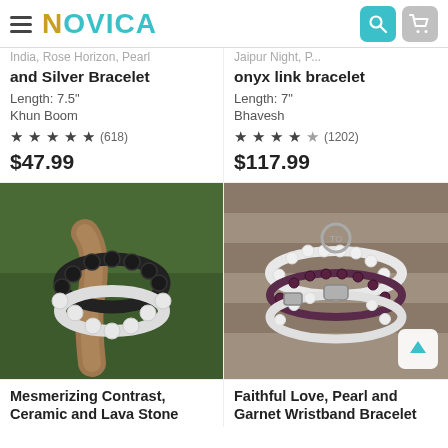NOVICA — navigation header with hamburger menu, logo, search and cart icons
and Silver Bracelet
Length: 7.5"
Khun Boom
(618)
$47.99
onyx link bracelet
Length: 7"
Bhavesh
(1202)
$117.99
[Figure (photo): Black lava and white ceramic bead bracelet draped over a piece of driftwood on a green background]
[Figure (photo): White pearl and dark garnet multi-strand wristband bracelet with silver toggle clasp on a wooden surface]
Mesmerizing Contrast, Ceramic and Lava Stone
Faithful Love, Pearl and Garnet Wristband Bracelet